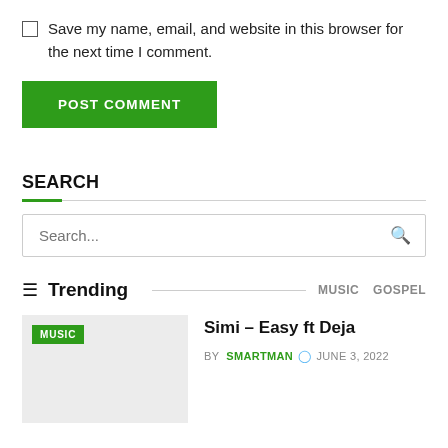Save my name, email, and website in this browser for the next time I comment.
POST COMMENT
SEARCH
Search...
Trending
MUSIC  GOSPEL
Simi – Easy ft Deja
BY SMARTMAN  JUNE 3, 2022